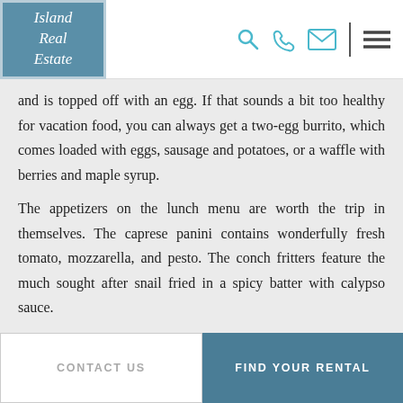[Figure (logo): Island Real Estate logo — teal/blue background with italic white script text reading 'Island Real Estate']
Navigation icons: search, phone, email, menu
and is topped off with an egg. If that sounds a bit too healthy for vacation food, you can always get a two-egg burrito, which comes loaded with eggs, sausage and potatoes, or a waffle with berries and maple syrup.
The appetizers on the lunch menu are worth the trip in themselves. The caprese panini contains wonderfully fresh tomato, mozzarella, and pesto. The conch fritters feature the much sought after snail fried in a spicy batter with calypso sauce.
CONTACT US | FIND YOUR RENTAL